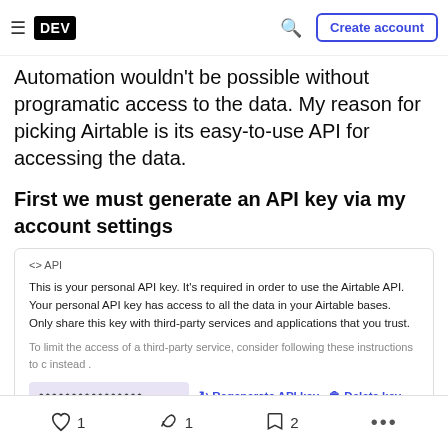DEV | Create account
Automation wouldn't be possible without programatic access to the data. My reason for picking Airtable is its easy-to-use API for accessing the data.
First we must generate an API key via my account settings
[Figure (screenshot): Airtable API key settings panel showing title '‹› API', description text about personal API key, a masked API key field, and options to Regenerate API key or Delete key]
1 (heart) | 1 (unicorn) | 2 (bookmark) | ...